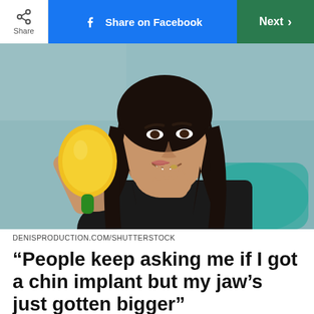Share | Share on Facebook | Next >
[Figure (photo): A young woman with dark curly hair in a black off-shoulder top sitting in a dental chair, holding a yellow hand mirror and touching her chin/jaw, smiling. Dental office background.]
DENISPRODUCTION.COM/SHUTTERSTOCK
“People keep asking me if I got a chin implant but my jaw’s just gotten bigger”